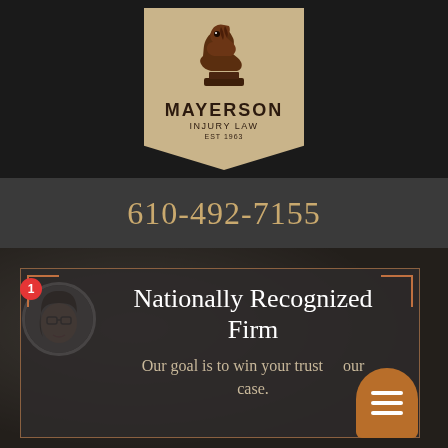[Figure (logo): Mayerson Injury Law logo with knight chess piece on a tan pennant-shaped badge. Text reads MAYERSON, INJURY LAW, EST 1963.]
610-492-7155
[Figure (photo): Hero section with dark blurred background image. Contains card with avatar photo of a woman with glasses, notification badge showing 1, text 'Nationally Recognized Firm', subtext 'Our goal is to win your trust our case.', and an orange hamburger menu button.]
Nationally Recognized Firm
Our goal is to win your trust our case.